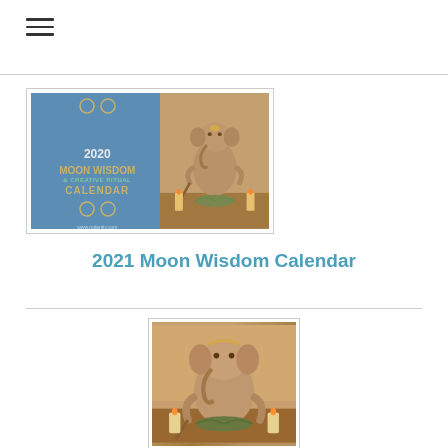[Figure (illustration): Hamburger menu icon with three horizontal lines]
[Figure (photo): 2020 Moon Wisdom and Creative Ritual Calendar cover showing moon circles and Ganesha statue with candles and herbs]
2021 Moon Wisdom Calendar
[Figure (photo): Ganesha clay statue on an altar with candles and herbs, close-up view]